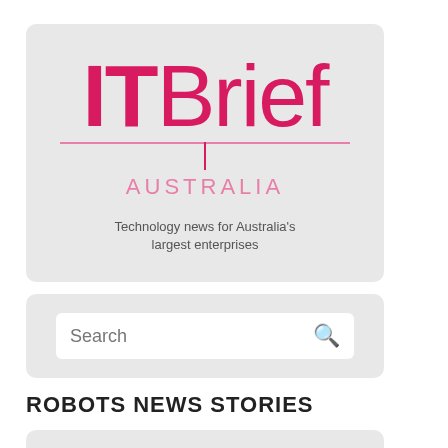[Figure (logo): IT Brief Australia logo on grey card background with tagline 'Technology news for Australia's largest enterprises']
Search
ROBOTS NEWS STORIES
[Figure (screenshot): Partial grey card at bottom of page, likely a news story card]